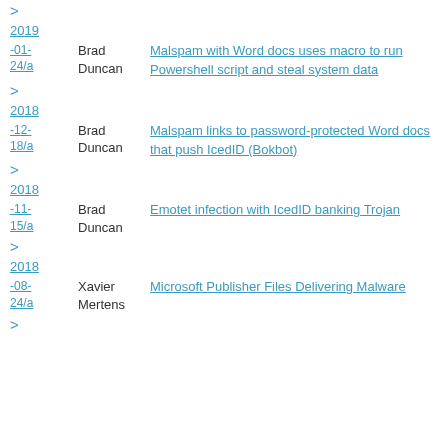>
2019
-01-
24/a
Brad Duncan
>
Malspam with Word docs uses macro to run Powershell script and steal system data
2018
-12-
18/a
Brad Duncan
>
Malspam links to password-protected Word docs that push IcedID (Bokbot)
2018
-11-
15/a
Brad Duncan
>
Emotet infection with IcedID banking Trojan
2018
-08-
24/a
Xavier Mertens
>
Microsoft Publisher Files Delivering Malware